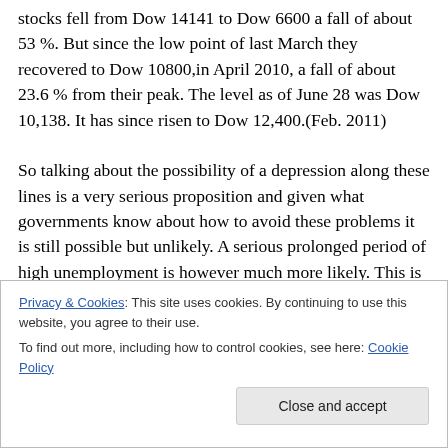stocks fell from Dow 14141 to Dow 6600 a fall of about 53 %. But since the low point of last March they recovered to Dow 10800,in April 2010, a fall of about 23.6 % from their peak. The level as of June 28 was Dow 10,138. It has since risen to Dow 12,400.(Feb. 2011) So talking about the possibility of a depression along these lines is a very serious proposition and given what governments know about how to avoid these problems it is still possible but unlikely. A serious prolonged period of high unemployment is however much more likely. This is particularly so because governments the world over are
Privacy & Cookies: This site uses cookies. By continuing to use this website, you agree to their use.
To find out more, including how to control cookies, see here: Cookie Policy